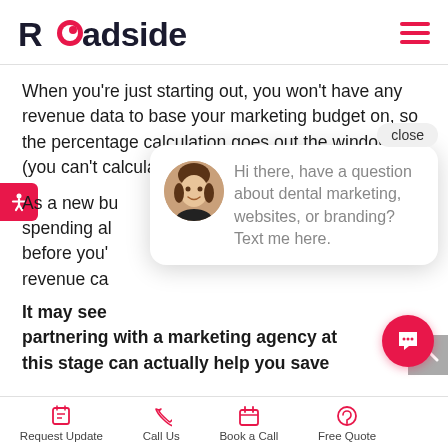Roadside
When you're just starting out, you won't have any revenue data to base your marketing budget on, so the percentage calculation goes out the window (you can't calculate 30% of $0!).
As a new bu... spending al... before you'... revenue ca...
It may see... partnering with a marketing agency at this stage can actually help you save
[Figure (screenshot): Chat popup with avatar photo of a woman and text: Hi there, have a question about dental marketing, websites, or branding? Text me here. A close button is visible above the popup.]
Request Update | Call Us | Book a Call | Free Quote